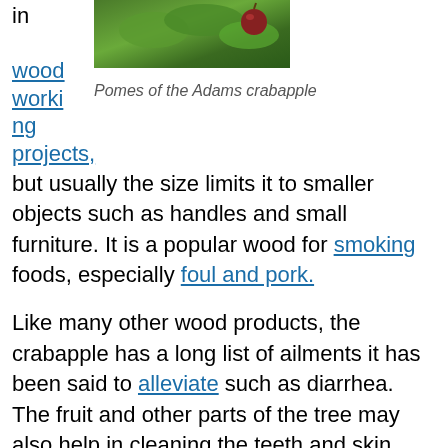in
[Figure (photo): Photo of red pomes (crabapples) on a branch with green leaves — Adams crabapple]
Pomes of the Adams crabapple
woodworking projects, but usually the size limits it to smaller objects such as handles and small furniture. It is a popular wood for smoking foods, especially foul and pork.
Like many other wood products, the crabapple has a long list of ailments it has been said to alleviate such as diarrhea. The fruit and other parts of the tree may also help in cleaning the teeth and skin care. Some sources claim ingesting crabapples may reduce the chance of uterine and prostate cancer as well as lower the risk of heart disease, etc.